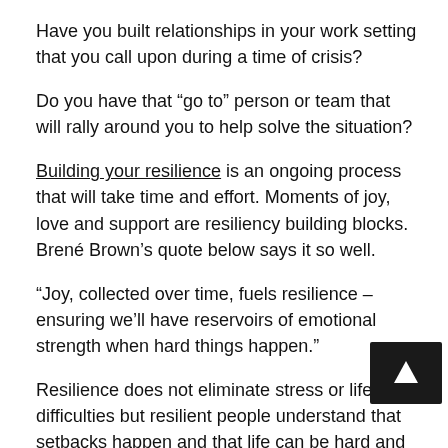Have you built relationships in your work setting that you call upon during a time of crisis?
Do you have that “go to” person or team that will rally around you to help solve the situation?
Building your resilience is an ongoing process that will take time and effort. Moments of joy, love and support are resiliency building blocks. Brené Brown’s quote below says it so well.
“Joy, collected over time, fuels resilience – ensuring we’ll have reservoirs of emotional strength when hard things happen.”
Resilience does not eliminate stress or life’s difficulties but resilient people understand that setbacks happen and that life can be hard and painful. They still experience the emotional pain, grief, and sense of loss that comes after a tragedy, but their overall outlook allows them to work